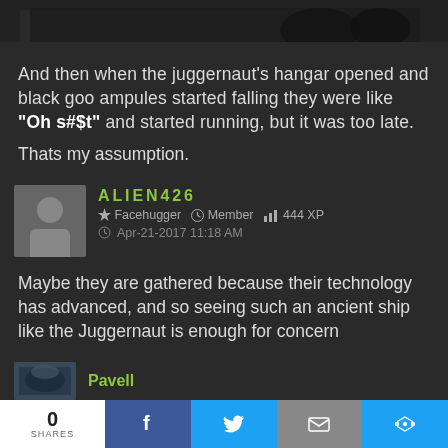[Figure (photo): Dark banner image at the top, appears to be a screenshot from a science fiction film showing figures in a dark environment]
And then when the juggernaut's hangar opened and black goo ampules started falling they were like "Oh s#$t" and started running, but it was too late.
Thats my assumption.
ALIEN426
Facehugger   Member   444 XP
Apr-21-2017 11:18 AM
Maybe they are gathered because their technology has advanced, and so seeing such an ancient ship like the Juggernaut is enough for concern
Pavell
0 SHARES  f  [twitter]  [email]  [share]